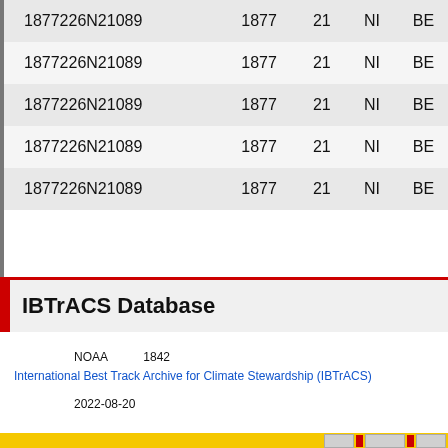| ID | Year | Num | Type | Basin |
| --- | --- | --- | --- | --- |
| 1877226N21089 | 1877 | 21 | NI | BE |
| 1877226N21089 | 1877 | 21 | NI | BE |
| 1877226N21089 | 1877 | 21 | NI | BE |
| 1877226N21089 | 1877 | 21 | NI | BE |
| 1877226N21089 | 1877 | 21 | NI | BE |
IBTrACS Database
（データはNOAAが提供。1842年以降の台風などの熱帯低気圧情報をまとめたデータセット。International Best Track Archive for Climate Stewardship (IBTrACS)のデータを取得・加工して表示。
最終更新日：2022-08-20